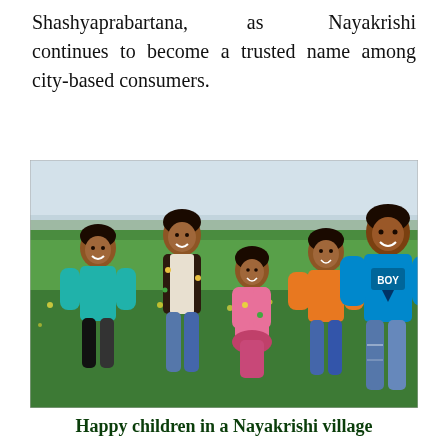Shashyaprabartana, as Nayakrishi continues to become a trusted name among city-based consumers.
[Figure (photo): Five smiling children standing in a lush green agricultural field with yellow flowering mustard plants. Children are wearing colorful clothes — teal, floral, pink, orange, and blue 'BOY' t-shirt. Background shows flat green fields and a hazy sky.]
Happy children in a Nayakrishi village